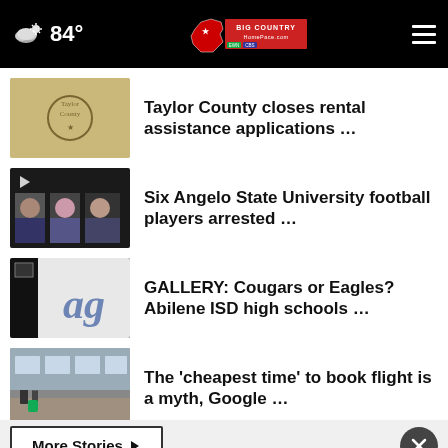84° Big Country Homepage
Taylor County closes rental assistance applications …
Six Angelo State University football players arrested …
GALLERY: Cougars or Eagles? Abilene ISD high schools …
The 'cheapest time' to book flight is a myth, Google …
More Stories ›
Listen to the new podcast about adoption.